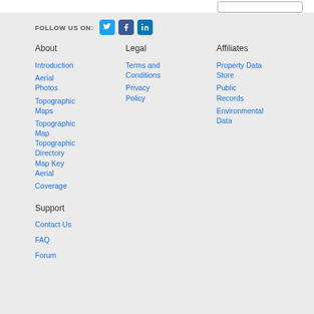FOLLOW US ON:
About
Introduction
Aerial Photos
Topographic Maps
Topographic Map Topographic Directory
Map Key
Aerial Coverage
Legal
Terms and Conditions
Privacy Policy
Affiliates
Property Data Store
Public Records
Environmental Data
Support
Contact Us
FAQ
Forum